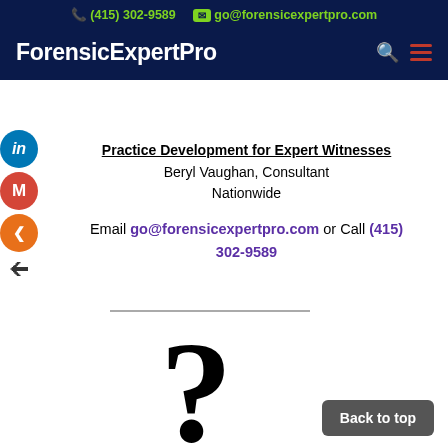(415) 302-9589  go@forensicexpertpro.com
ForensicExpertPro
Practice Development for Expert Witnesses
Beryl Vaughan, Consultant
Nationwide
Email go@forensicexpertpro.com or Call (415) 302-9589
[Figure (illustration): Large bold question mark symbol in black]
Back to top